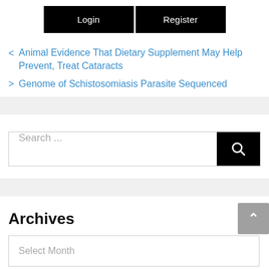[Figure (other): Login and Register buttons, both black with white text]
< Animal Evidence That Dietary Supplement May Help Prevent, Treat Cataracts
> Genome of Schistosomiasis Parasite Sequenced
[Figure (other): Search bar with black search button]
Archives
[Figure (other): Select Month dropdown]